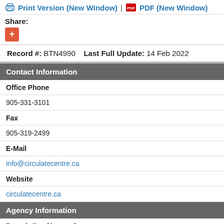Print Version (New Window) | PDF (New Window)
Share:
Record #: BTN4990   Last Full Update: 14 Feb 2022
| Contact Information |
| --- |
| Office Phone |
| 905-331-3101 |
| Fax |
| 905-319-2499 |
| E-Mail |
| info@circulatecentre.ca |
| Website |
| circulatecentre.ca |
Agency Information
Description (Agency)
A diagnostic clinic providing medical imaging services for the purposes of medical diagnostics